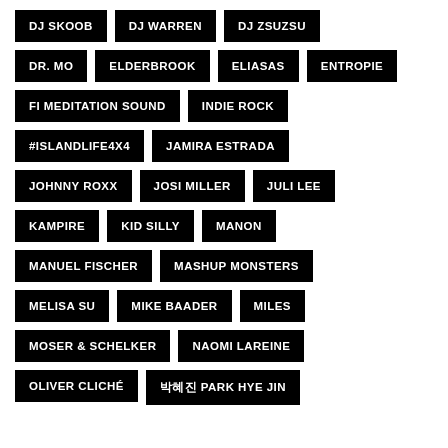DJ SKOOB
DJ WARREN
DJ ZSUZSU
DR. MO
ELDERBROOK
ELIASAS
ENTROPIE
FI MEDITATION SOUND
INDIE ROCK
#ISLANDLIFE4X4
JAMIRA ESTRADA
JOHNNY ROXX
JOSI MILLER
JULI LEE
KAMPIRE
KID SILLY
MANON
MANUEL FISCHER
MASHUP MONSTERS
MELISA SU
MIKE BAADER
MILES
MOSER & SCHELKER
NAOMI LAREINE
OLIVER CLICHÉ
박혜진 PARK HYE JIN